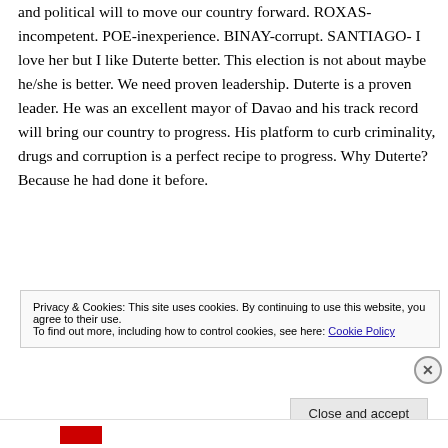and political will to move our country forward. ROXAS- incompetent. POE-inexperience. BINAY-corrupt. SANTIAGO- I love her but I like Duterte better. This election is not about maybe he/she is better. We need proven leadership. Duterte is a proven leader. He was an excellent mayor of Davao and his track record will bring our country to progress. His platform to curb criminality, drugs and corruption is a perfect recipe to progress. Why Duterte? Because he had done it before.
Privacy & Cookies: This site uses cookies. By continuing to use this website, you agree to their use.
To find out more, including how to control cookies, see here: Cookie Policy
Close and accept